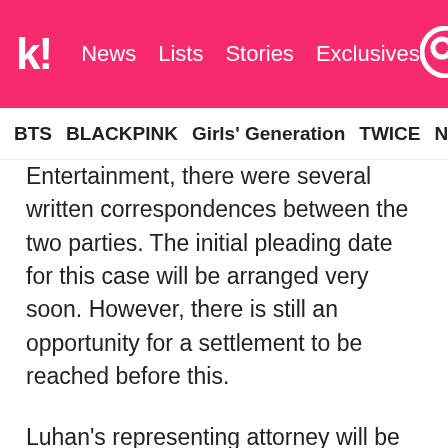Koreaboo — News | Lists | Stories | Exclusives
BTS   BLACKPINK   Girls' Generation   TWICE   NCT   SEVE
Entertainment, there were several written correspondences between the two parties. The initial pleading date for this case will be arranged very soon. However, there is still an opportunity for a settlement to be reached before this.
Luhan's representing attorney will be the same attorney who handled Kris' case in May. According to Luhan's representation, “SM Entertainment has discriminated against Chinese members in EXO-M's unit compared to those Korean members in EXO-K's unit. Since EXO's debut, SM Entertainment has provided